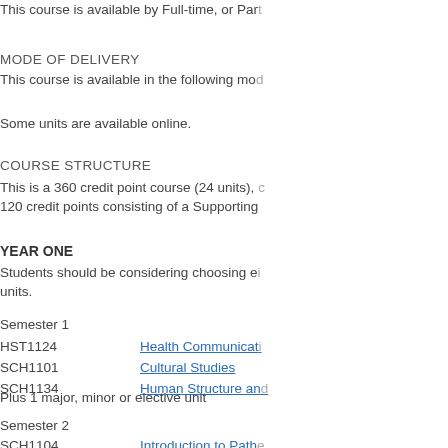This course is available by Full-time, or Part-
MODE OF DELIVERY
This course is available in the following mod-
Some units are available online.
COURSE STRUCTURE
This is a 360 credit point course (24 units), c 120 credit points consisting of a Supporting
YEAR ONE
Students should be considering choosing ei- units.
Semester 1
| Code | Unit |
| --- | --- |
| HST1124 | Health Communicat- |
| SCH1101 | Cultural Studies |
| SCH1134 | Human Structure an- |
Plus 1 major, minor or elective unit
Semester 2
| Code | Unit |
| --- | --- |
| SCH1104 | Introduction to Pathe- |
| SCH1105 | Introduction to Phar- |